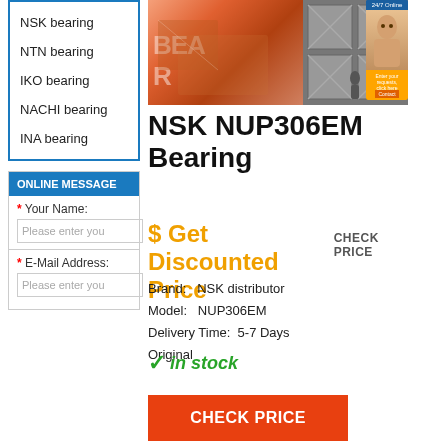NSK bearing
NTN bearing
IKO bearing
NACHI bearing
INA bearing
ONLINE MESSAGE
* Your Name:
Please enter you
* E-Mail Address:
Please enter you
[Figure (photo): Two product/packaging photos showing boxes with watermark and stacked boxes in a warehouse]
NSK NUP306EM Bearing
$ Get Discounted Price  CHECK PRICE
Brand:   NSK distributor
Model:   NUP306EM
Delivery Time:   5-7 Days
Original
✓in stock
CHECK PRICE